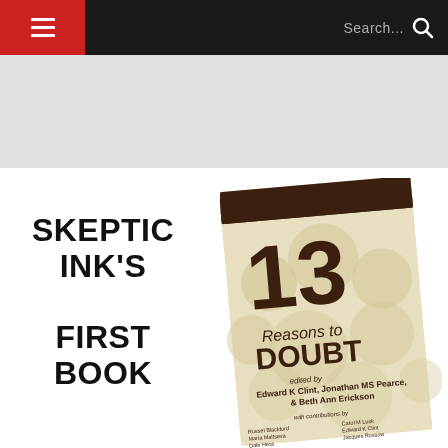≡  Search...  🔍
✉ Subscribe  ⚠ Do Not Sell My Data    DISQUS
[Figure (illustration): Book cover for '13 Reasons to Doubt', edited by Edward K Clint, Jonathan MS Pearce, & Beth Ann Erickson, with contributions by multiple authors. The cover shows the number 13 in large brown text on a cream/beige background with circular dot pattern.]
SKEPTIC INK'S

FIRST BOOK